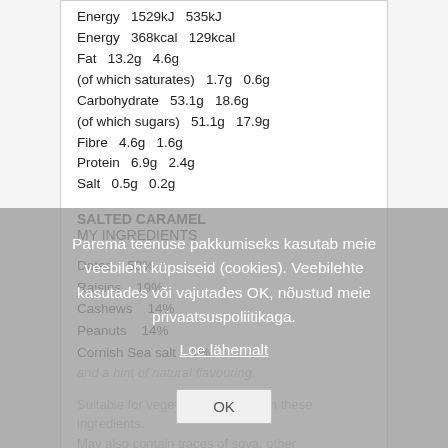| Nutrient | Per 100g | Per 35g |
| --- | --- | --- |
| Energy | 1529kJ | 535kJ |
| Energy | 368kcal | 129kcal |
| Fat | 13.2g | 4.6g |
| (of which saturates) | 1.7g | 0.6g |
| Carbohydrate | 53.1g | 18.6g |
| (of which sugars) | 51.1g | 17.9g |
| Fibre | 4.6g | 1.6g |
| Protein | 6.9g | 2.4g |
| Salt | 0.5g | 0.2g |
SALTED CARAMEL
MY INGREDIENTS
Dates    53%
Raisins    19%
Cashews    14%
Peanuts    14%
Cornish Sea salt    1%
and a hint of natural flavouring.
Suitable for vegetarians. Free from these ingredients. May also contain traces of soya, other nuts and the odd shell or pit piece.
DELICIOUSLY SIMPLE!
Hello Gorgeous! We thought you should know
Parema teenuse pakkumiseks kasutab meie veebileht küpsiseid (cookies). Veebilehte kasutades või vajutades OK, nõustud meie privaatsuspoliitikaga.
Loe lähemalt
OK